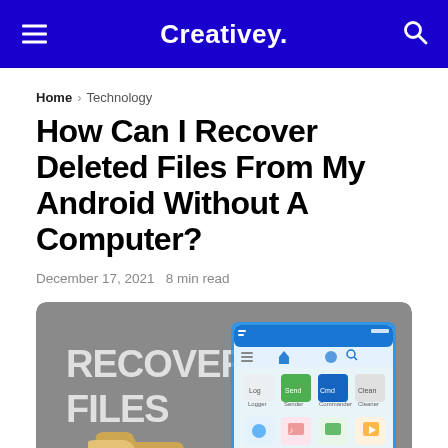Creativey.
Home › Technology
How Can I Recover Deleted Files From My Android Without A Computer?
December 17, 2021   8 min read
[Figure (photo): Featured image showing 'RECOVER FILES' text on grey background with a folder icon and an Android phone screen displaying app icons]